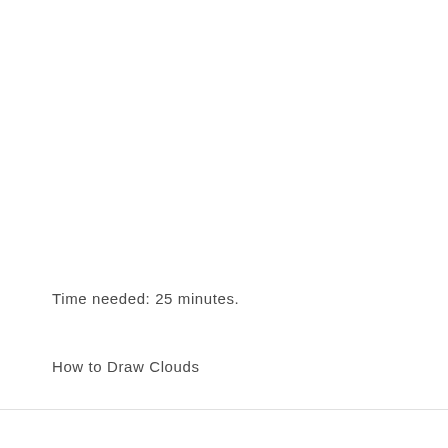Time needed: 25 minutes.
How to Draw Clouds